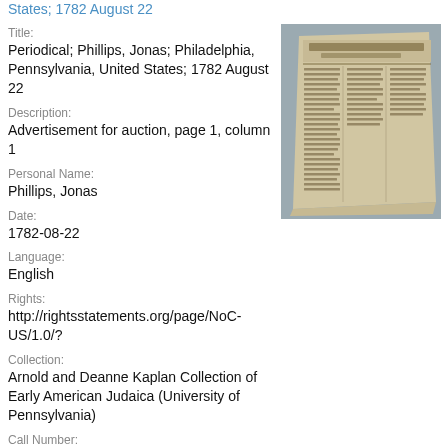States; 1782 August 22
Title:
Periodical; Phillips, Jonas; Philadelphia, Pennsylvania, United States; 1782 August 22
[Figure (photo): Photograph of an aged newspaper page titled 'Pennsylvania Packet' and 'General Advertiser', yellowed and worn, with multiple columns of text.]
Description:
Advertisement for auction, page 1, column 1
Personal Name:
Phillips, Jonas
Date:
1782-08-22
Language:
English
Rights:
http://rightsstatements.org/page/NoC-US/1.0/?
Collection:
Arnold and Deanne Kaplan Collection of Early American Judaica (University of Pennsylvania)
Call Number: